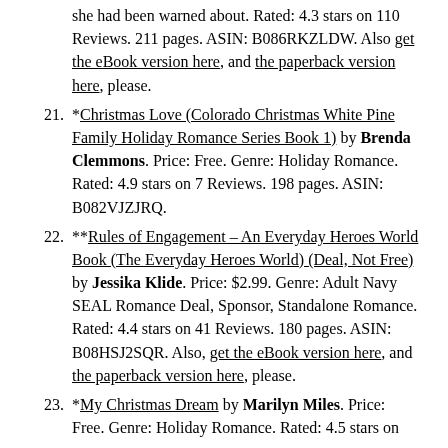(continuation) she had been warned about. Rated: 4.3 stars on 110 Reviews. 211 pages. ASIN: B086RKZLDW. Also get the eBook version here, and the paperback version here, please.
21. *Christmas Love (Colorado Christmas White Pine Family Holiday Romance Series Book 1) by Brenda Clemmons. Price: Free. Genre: Holiday Romance. Rated: 4.9 stars on 7 Reviews. 198 pages. ASIN: B082VJZJRQ.
22. **Rules of Engagement – An Everyday Heroes World Book (The Everyday Heroes World) (Deal, Not Free) by Jessika Klide. Price: $2.99. Genre: Adult Navy SEAL Romance Deal, Sponsor, Standalone Romance. Rated: 4.4 stars on 41 Reviews. 180 pages. ASIN: B08HSJ2SQR. Also, get the eBook version here, and the paperback version here, please.
23. *My Christmas Dream by Marilyn Miles. Price: Free. Genre: Holiday Romance. Rated: 4.5 stars on